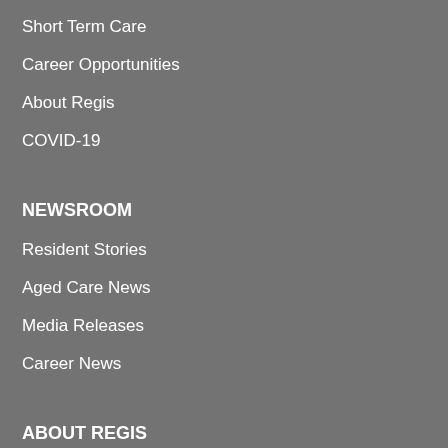Short Term Care
Career Opportunities
About Regis
COVID-19
NEWSROOM
Resident Stories
Aged Care News
Media Releases
Career News
ABOUT REGIS
Our Leaders
Regis Governance